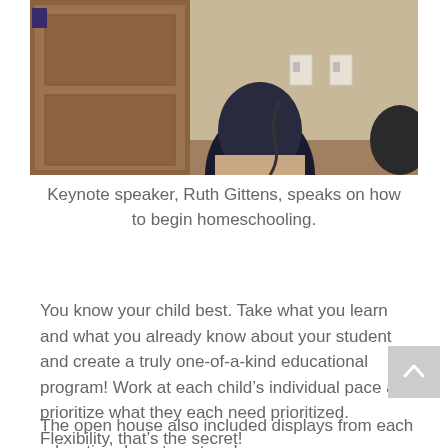[Figure (photo): Photo of audience members seated, viewed from behind, with a wooden podium/door visible at the front of a room with beige walls and light switches.]
Keynote speaker, Ruth Gittens, speaks on how to begin homeschooling.
You know your child best. Take what you learn and what you already know about your student and create a truly one-of-a-kind educational program! Work at each child’s individual pace and prioritize what they each need prioritized. Flexibility, that’s the secret!
The open house also included displays from each education department and